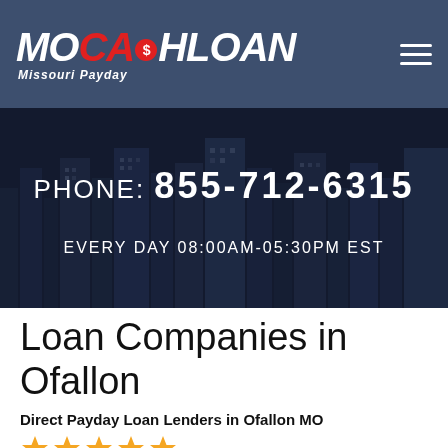MOCashLoan Missouri Payday
[Figure (screenshot): City skyline background banner with phone number and hours overlay]
PHONE: 855-712-6315
EVERY DAY 08:00AM-05:30PM EST
Loan Companies in Ofallon
Direct Payday Loan Lenders in Ofallon MO
[Figure (illustration): Five gold star rating icons]
36 Detroit Rd